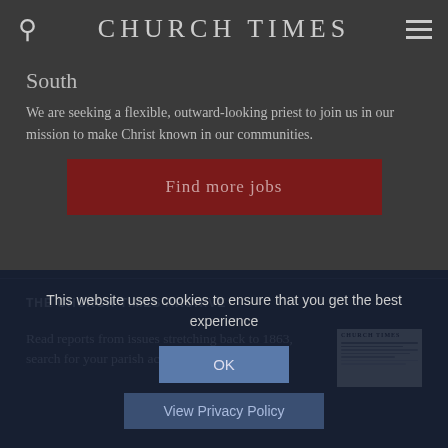CHURCH TIMES
South
We are seeking a flexible, outward-looking priest to join us in our mission to make Christ known in our communities.
Find more jobs
THE CHURCH TIMES ARCHIVE
Read reports from issues stretching back to 1863, search for your parish across 'forms of...
[Figure (other): Church Times newspaper front page thumbnail]
This website uses cookies to ensure that you get the best experience
OK
View Privacy Policy